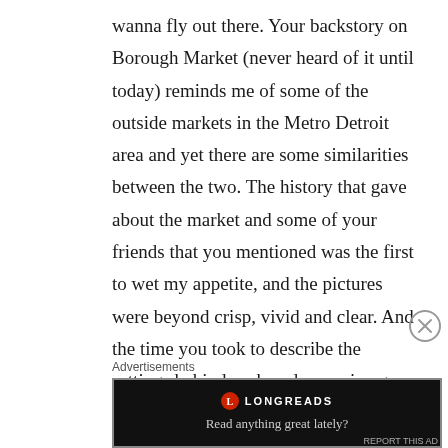wanna fly out there. Your backstory on Borough Market (never heard of it until today) reminds me of some of the outside markets in the Metro Detroit area and yet there are some similarities between the two. The history that gave about the market and some of your friends that you mentioned was the first to wet my appetite, and the pictures were beyond crisp, vivid and clear. And the time you took to describe the settings behind each and every image was clearly off the
Advertisements
[Figure (other): Longreads advertisement banner with logo and tagline 'Read anything great lately?' on dark background]